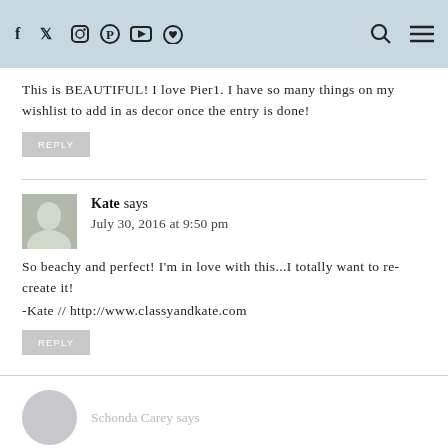Social media navigation bar with icons: Facebook, Twitter, Instagram, Pinterest, YouTube, Bloglovin, search, menu
This is BEAUTIFUL! I love Pier1. I have so many things on my wishlist to add in as decor once the entry is done!
REPLY
Kate says
July 30, 2016 at 9:50 pm
So beachy and perfect! I'm in love with this...I totally want to re-create it!
-Kate // http://www.classyandkate.com
REPLY
Schonda Carey says